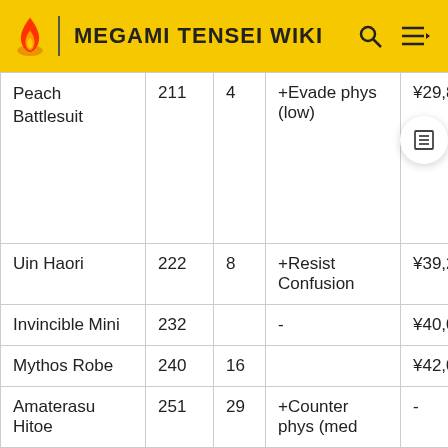MEGAMI TENSEI WIKI
| Name | DEF | AGI | Special | Price |
| --- | --- | --- | --- | --- |
| Peach Battlesuit | 211 | 4 | +Evade phys (low) | ¥29,800 |
| Uin Haori | 222 | 8 | +Resist Confusion | ¥39,200 |
| Invincible Mini | 232 |  | - | ¥40,000 |
| Mythos Robe | 240 | 16 |  | ¥42,000 |
| Amaterasu Hitoe | 251 | 29 | +Counter phys (med | - |